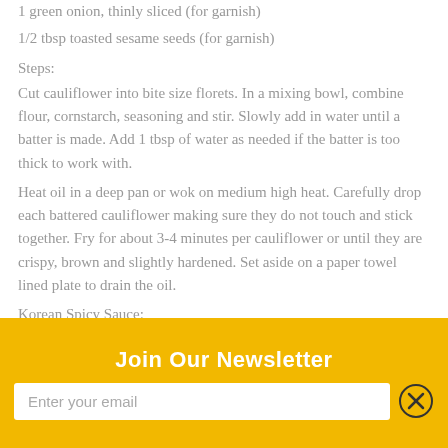1 green onion, thinly sliced (for garnish)
1/2 tbsp toasted sesame seeds (for garnish)
Steps:
Cut cauliflower into bite size florets. In a mixing bowl, combine flour, cornstarch, seasoning and stir. Slowly add in water until a batter is made. Add 1 tbsp of water as needed if the batter is too thick to work with.
Heat oil in a deep pan or wok on medium high heat. Carefully drop each battered cauliflower making sure they do not touch and stick together. Fry for about 3-4 minutes per cauliflower or until they are crispy, brown and slightly hardened. Set aside on a paper towel lined plate to drain the oil.
Korean Spicy Sauce:
1/4 cup Gochujang (Korean hot pepper paste)
1 tbsp rice wine vinegar
2-3 garlic, minced
2 tbsp ketchup
Join Our Newsletter
Enter your email